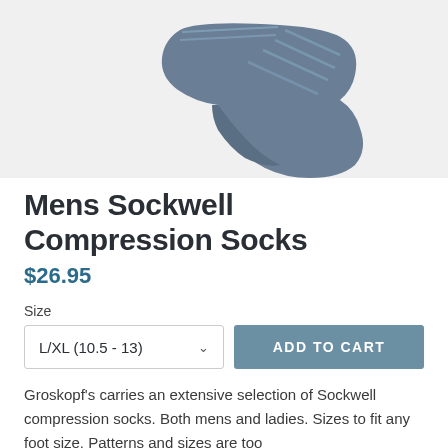[Figure (photo): A blue/grey ankle compression sock shown from the side on a light grey background, with subtle stripe detailing.]
Mens Sockwell Compression Socks
$26.95
Size
L/XL (10.5 - 13)
ADD TO CART
Groskopf's carries an extensive selection of Sockwell compression socks. Both mens and ladies. Sizes to fit any foot size. Patterns and sizes are too